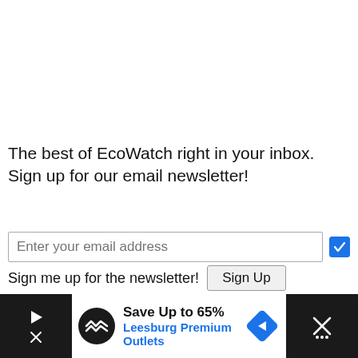The best of EcoWatch right in your inbox. Sign up for our email newsletter!
[Figure (screenshot): Email signup form with text input 'Enter your email address', a blue checkbox, a label 'Sign me up for the newsletter!' and a 'Sign Up' button]
[Figure (infographic): Bottom advertisement bar: black strip on left, white center section with circular logo, text 'Save Up to 65%' and 'Leesburg Premium Outlets' with blue navigation icon, black strip on right with X close button and grid icon]